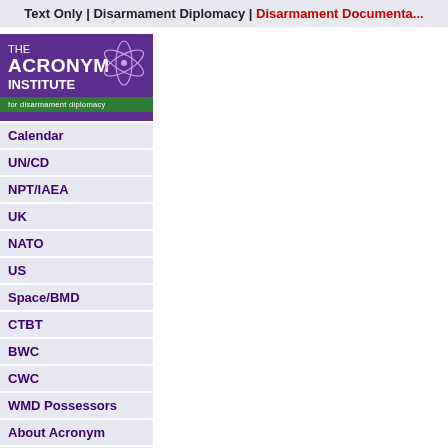Text Only | Disarmament Diplomacy | Disarmament Documenta...
[Figure (logo): The Acronym Institute for disarmament diplomacy logo — purple background with white text and atom graphic, green bar at bottom]
Calendar
UN/CD
NPT/IAEA
UK
NATO
US
Space/BMD
CTBT
BWC
CWC
WMD Possessors
About Acronym
Links
Glossary